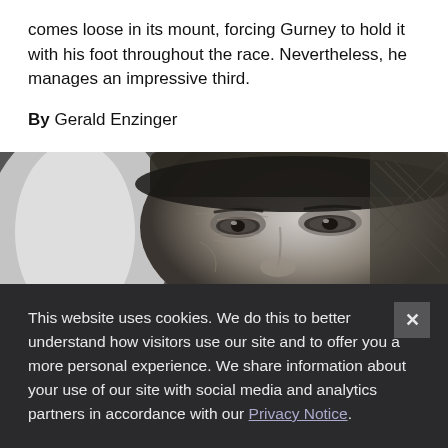comes loose in its mount, forcing Gurney to hold it with his foot throughout the race. Nevertheless, he manages an impressive third.
By Gerald Enzinger
[Figure (photo): Black and white close-up photograph of an older person's face wearing a helmet or hat, showing wrinkled skin and squinting eyes]
This website uses cookies. We do this to better understand how visitors use our site and to offer you a more personal experience. We share information about your use of our site with social media and analytics partners in accordance with our Privacy Notice.